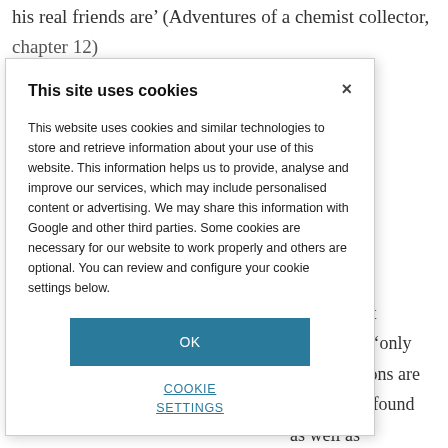his real friends are' (Adventures of a chemist collector, chapter 12)
...bject of the one ggested that ht find that 'only istry functions are ears I have found as well as
This site uses cookies
This website uses cookies and similar technologies to store and retrieve information about your use of this website. This information helps us to provide, analyse and improve our services, which may include personalised content or advertising. We may share this information with Google and other third parties. Some cookies are necessary for our website to work properly and others are optional. You can review and configure your cookie settings below.
OK
COOKIE SETTINGS